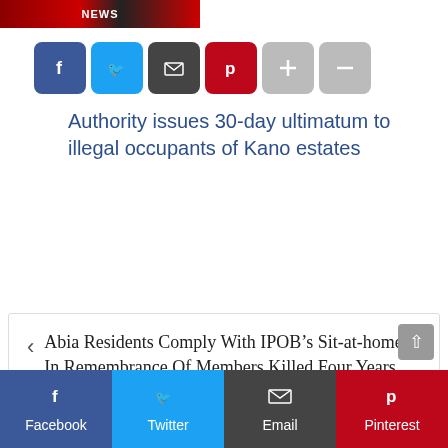[Figure (photo): News thumbnail image with red background and 'NEWS' text]
[Figure (infographic): Social share buttons: Facebook (blue), Twitter (light blue), Email (dark gray), Pinterest (red), Plus (gray), Minus (gray)]
Authority issues 30-day ultimatum to illegal occupants of Kano estates
Abia Residents Comply With IPOB’s Sit-at-home In Remembrance Of Members Killed Four Years Ago
BUSTED: Nigeria’s Forestry Research Institute Boss, Olusola Accused Of Corruption Intimidates Workers With Queries, Transfers To Cover Up
[Figure (infographic): Bottom share bar: Facebook, Twitter, Email, Pinterest buttons]